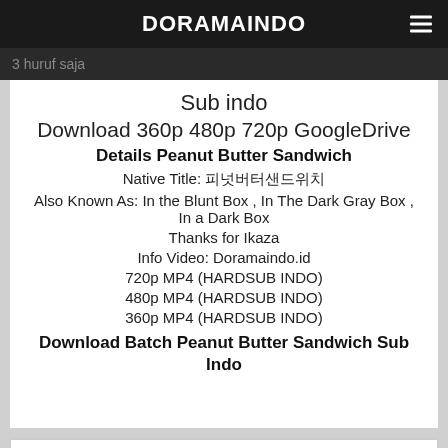DORAMAINDO
3 huruf saja
Sub indo
Download 360p 480p 720p GoogleDrive
Details Peanut Butter Sandwich
Native Title: 피넛버터샌드위치
Also Known As: In the Blunt Box , In The Dark Gray Box , In a Dark Box
Thanks for Ikaza
Info Video: Doramaindo.id
720p MP4 (HARDSUB INDO)
480p MP4 (HARDSUB INDO)
360p MP4 (HARDSUB INDO)
Download Batch Peanut Butter Sandwich Sub Indo
Peanut Butter Sandwich Sub Indo